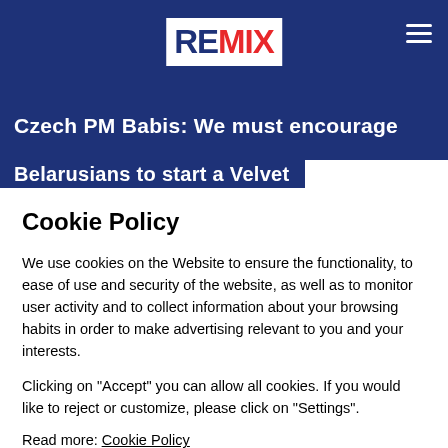[Figure (logo): REMIX logo — white box with dark blue 'RE' and red 'MIX' text on dark blue header background]
Czech PM Babis: We must encourage
Belarusians to start a Velvet
Cookie Policy
We use cookies on the Website to ensure the functionality, to ease of use and security of the website, as well as to monitor user activity and to collect information about your browsing habits in order to make advertising relevant to you and your interests.
Clicking on "Accept" you can allow all cookies. If you would like to reject or customize, please click on "Settings".
Read more: Cookie Policy
SETTINGS
ACCEPT